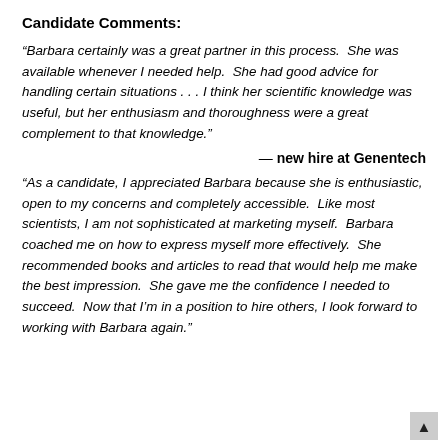Candidate Comments:
“Barbara certainly was a great partner in this process.  She was available whenever I needed help.  She had good advice for handling certain situations . . . I think her scientific knowledge was useful, but her enthusiasm and thoroughness were a great complement to that knowledge.”
— new hire at Genentech
“As a candidate, I appreciated Barbara because she is enthusiastic, open to my concerns and completely accessible.  Like most scientists, I am not sophisticated at marketing myself.  Barbara coached me on how to express myself more effectively.  She recommended books and articles to read that would help me make the best impression.  She gave me the confidence I needed to succeed.  Now that I’m in a position to hire others, I look forward to working with Barbara again.”